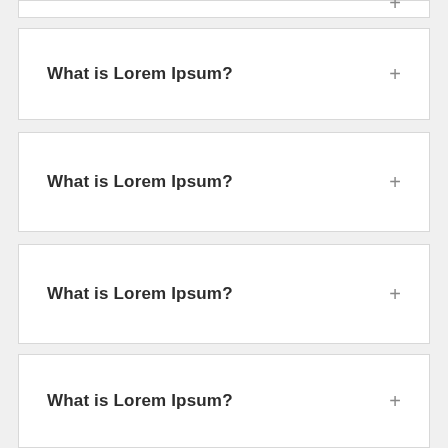What is Lorem Ipsum?
What is Lorem Ipsum?
What is Lorem Ipsum?
What is Lorem Ipsum?
What is Lorem Ipsum?